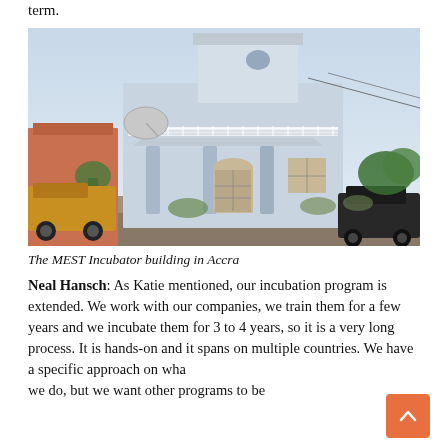term.
[Figure (photo): Exterior photograph of the MEST Incubator building in Accra — a two-storey white and light-blue building with balcony railing, arched windows, columns, satellite dish, and vehicles parked in front.]
The MEST Incubator building in Accra
Neal Hansch: As Katie mentioned, our incubation program is extended. We work with our companies, we train them for a few years and we incubate them for 3 to 4 years, so it is a very long process. It is hands-on and it spans on multiple countries. We have a specific approach on what we do, but we want other programs to be